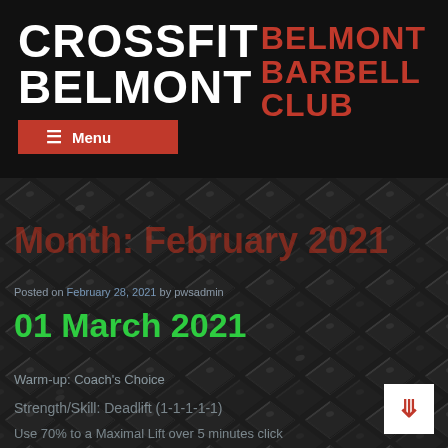CROSSFIT BELMONT
BELMONT BARBELL CLUB
≡ Menu
Month: February 2021
Posted on February 28, 2021 by pwsadmin
01 March 2021
Warm-up: Coach's Choice
Strength/Skill: Deadlift (1-1-1-1-1)
Use 70% to a Maximal Lift over 5 minutes click